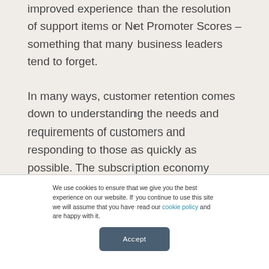improved experience than the resolution of support items or Net Promoter Scores – something that many business leaders tend to forget.
In many ways, customer retention comes down to understanding the needs and requirements of customers and responding to those as quickly as possible. The subscription economy
We use cookies to ensure that we give you the best experience on our website. If you continue to use this site we will assume that you have read our cookie policy and are happy with it.
Accept